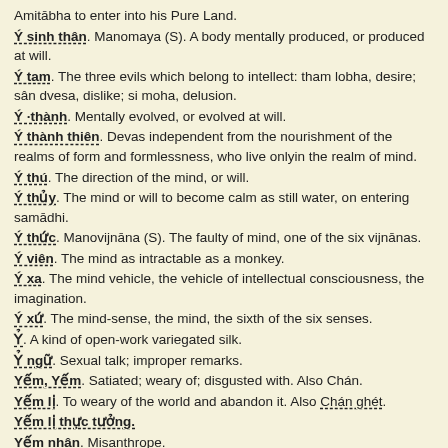Amitābha to enter into his Pure Land.
Ý sinh thân. Manomaya (S). A body mentally produced, or produced at will.
Ý tam. The three evils which belong to intellect: tham lobha, desire; sân dvesa, dislike; si moha, delusion.
Ý ·thành. Mentally evolved, or evolved at will.
Ý thành thiên. Devas independent from the nourishment of the realms of form and formlessness, who live onlyin the realm of mind.
Ý thú. The direction of the mind, or will.
Ý thủy. The mind or will to become calm as still water, on entering samādhi.
Ý thức. Manovijnāna (S). The faulty of mind, one of the six vijnānas.
Ý viên. The mind as intractable as a monkey.
Ý xa. The mind vehicle, the vehicle of intellectual consciousness, the imagination.
Ý xứ. The mind-sense, the mind, the sixth of the six senses.
Ỷ. A kind of open-work variegated silk.
Ỷ ngữ. Sexual talk; improper remarks.
Yếm, Yếm. Satiated; weary of; disgusted with. Also Chán.
Yếm lị. To weary of the world and abandon it. Also Chán ghét.
Yếm lị thực tưởng.
Yếm nhân. Misanthrope.
Yếm thế. Weary of the world; to renounce the world.